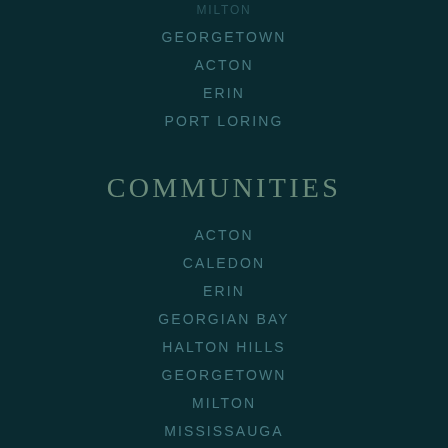MILTON
GEORGETOWN
ACTON
ERIN
PORT LORING
COMMUNITIES
ACTON
CALEDON
ERIN
GEORGIAN BAY
HALTON HILLS
GEORGETOWN
MILTON
MISSISSAUGA